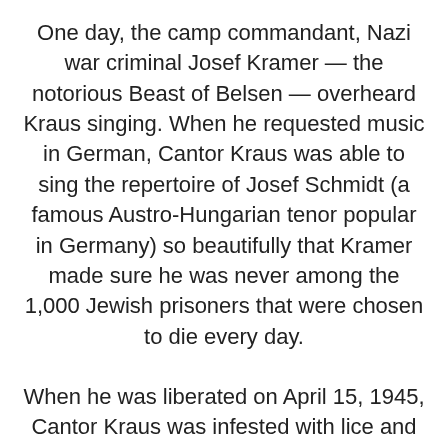One day, the camp commandant, Nazi war criminal Josef Kramer — the notorious Beast of Belsen — overheard Kraus singing. When he requested music in German, Cantor Kraus was able to sing the repertoire of Josef Schmidt (a famous Austro-Hungarian tenor popular in Germany) so beautifully that Kramer made sure he was never among the 1,000 Jewish prisoners that were chosen to die every day.
When he was liberated on April 15, 1945, Cantor Kraus was infested with lice and weighed less than 80 pounds.
Cantor Kraus has served as chief cantor in the IDF, Antwerp, Johannesburg, and Mexico City before moving to Ottawa, where he and Rivka, his wife of 68 years, have lived for more than 40